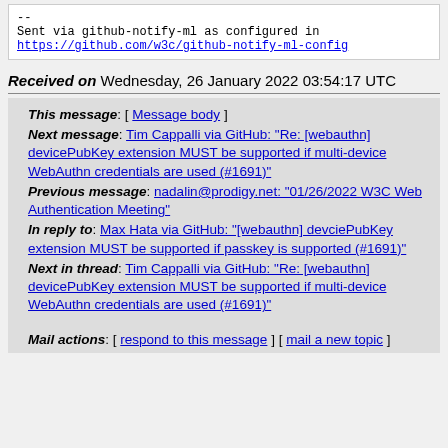--
Sent via github-notify-ml as configured in https://github.com/w3c/github-notify-ml-config
Received on Wednesday, 26 January 2022 03:54:17 UTC
This message: [ Message body ]
Next message: Tim Cappalli via GitHub: "Re: [webauthn] devicePubKey extension MUST be supported if multi-device WebAuthn credentials are used (#1691)"
Previous message: nadalin@prodigy.net: "01/26/2022 W3C Web Authentication Meeting"
In reply to: Max Hata via GitHub: "[webauthn] devciePubKey extension MUST be supported if passkey is supported (#1691)"
Next in thread: Tim Cappalli via GitHub: "Re: [webauthn] devicePubKey extension MUST be supported if multi-device WebAuthn credentials are used (#1691)"
Mail actions: [ respond to this message ] [ mail a new topic ]